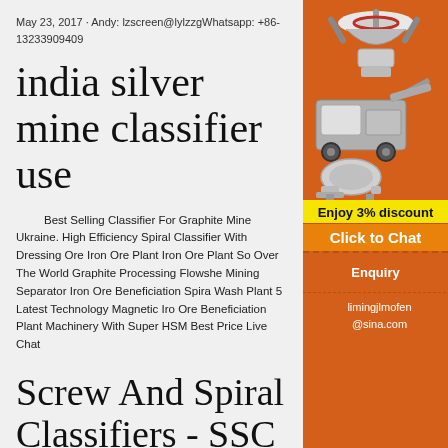May 23, 2017 · Andy: lzscreen@lylzzgWhatsapp: +86-13233909409
india silver mine classifier use
Best Selling Classifier For Graphite Mine Ukraine. High Efficiency Spiral Classifier With Dressing Ore Iron Ore Plant Iron Ore Plant So Over The World Graphite Processing Flowshe Mining Separator Iron Ore Beneficiation Spira Wash Plant 5 Latest Technology Magnetic Iro Ore Beneficiation Plant Machinery With Super HSM Best Price Live Chat
[Figure (illustration): Orange sidebar banner showing mining/crushing machinery images (cone crusher, mobile crusher, ball mill), discount offer 'Enjoy 3% discount', 'Click to Chat' button, 'Enquiry' link, and email limingjlmofen@sina.com]
Screw And Spiral Classifiers - SSC